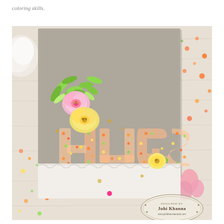coloring skills.
[Figure (photo): A handmade greeting card on a wooden surface. The card has a gray/taupe panel with large cut-out letters spelling 'HUGS' filled with colorful sequins. Pink and yellow flowers with green leaves are arranged on the card. A watermark reads 'Juhi Khanna / www.juhikhannaecards.com' in the bottom right corner. Scattered sequins and flowers surround the card.]